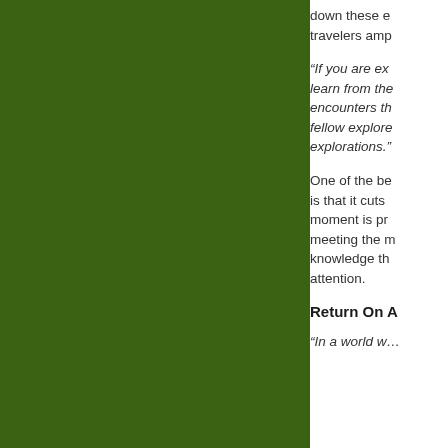[Figure (illustration): Large dark green rectangular panel occupying the left ~69% of the page]
down these e… travelers amp…
“If you are ex… learn from the… encounters th… fellow explore… explorations.”
One of the be… is that it cuts… moment is pr… meeting the m… knowledge th… attention.
Return On A
“In a world w…